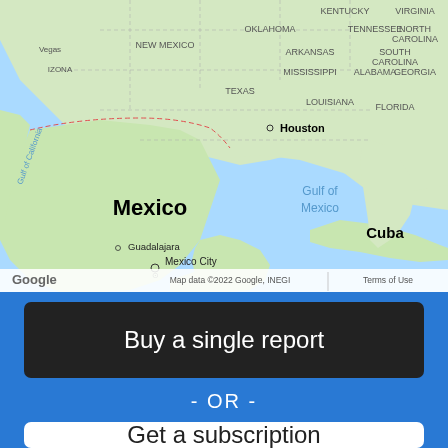[Figure (map): Google Maps screenshot showing the Gulf of Mexico region including southern United States (Texas, Louisiana, Florida, Mississippi, Alabama, Georgia, Tennessee, Arkansas, Oklahoma, Virginia, North Carolina, South Carolina, Kentucky), Mexico (with labels for Mexico City, Guadalajara, Houston), Cuba, and the Gulf of Mexico water body. Also shows Baja California peninsula labeled 'Gulf of California'. Map data credit: ©2022 Google, INEGI.]
Buy a single report
- OR -
Get a subscription